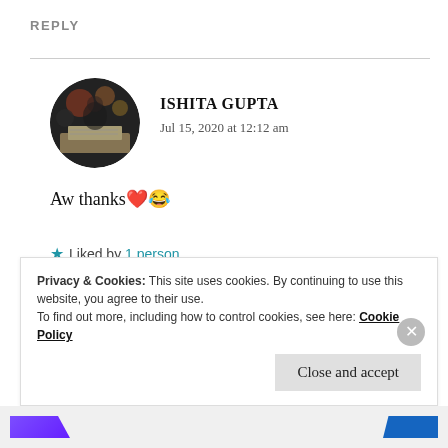REPLY
[Figure (photo): Circular avatar photo of Ishita Gupta showing a person reading a book with bokeh background]
ISHITA GUPTA
Jul 15, 2020 at 12:12 am
Aw thanks❤️😂
★ Liked by 1 person
REPLY
Privacy & Cookies: This site uses cookies. By continuing to use this website, you agree to their use.
To find out more, including how to control cookies, see here: Cookie Policy
Close and accept